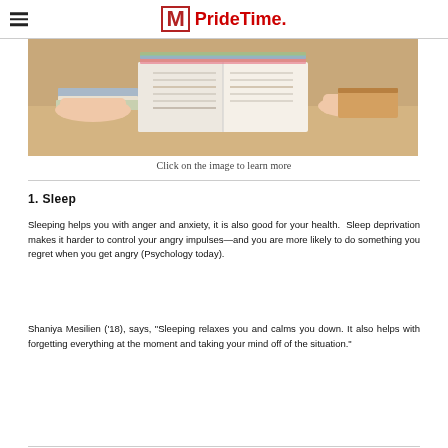M PrideTime.
[Figure (photo): Person with hands resting on an open book surrounded by stacked books on a desk, viewed from behind at eye level.]
Click on the image to learn more
1. Sleep
Sleeping helps you with anger and anxiety, it is also good for your health. Sleep deprivation makes it harder to control your angry impulses—and you are more likely to do something you regret when you get angry (Psychology today).
Shaniya Mesilien ('18), says, "Sleeping relaxes you and calms you down. It also helps with forgetting everything at the moment and taking your mind off of the situation."